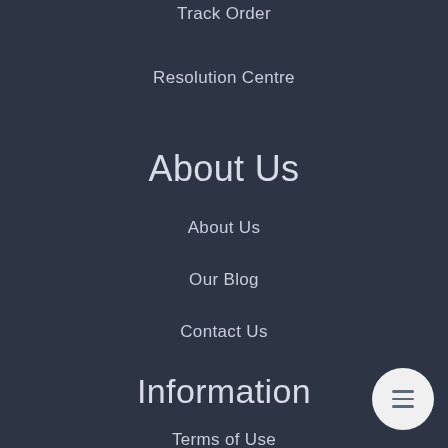Track Order
Resolution Centre
About Us
About Us
Our Blog
Contact Us
Information
Terms of Use
Privacy Policy